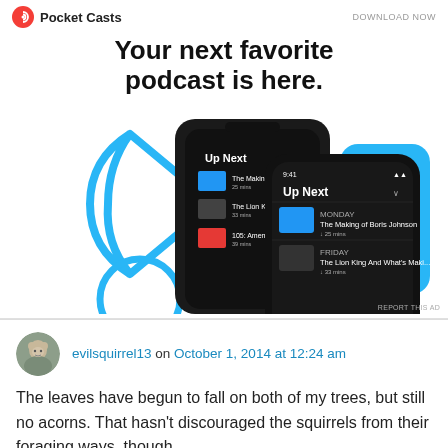[Figure (screenshot): Pocket Casts app advertisement banner showing logo, 'DOWNLOAD NOW' text, headline, and smartphone screenshots of the app's 'Up Next' queue interface with podcast episodes listed.]
evilsquirrel13 on October 1, 2014 at 12:24 am
The leaves have begun to fall on both of my trees, but still no acorns. That hasn't discouraged the squirrels from their foraging ways, though….